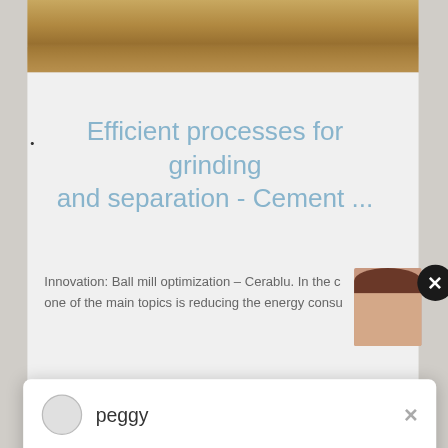[Figure (photo): Top strip showing an excavation or quarry site with brown/tan soil and rocky terrain visible]
Efficient processes for grinding and separation - Cement ...
Innovation: Ball mill optimization – Cerablu. In the c one of the main topics is reducing the energy consu
[Figure (photo): Partial view of a person with dark hair, face partially visible]
peggy
Welcome, please choose: 1.English  2.Русский 3.Français  4.Español  5.bahasa Indonesia  6.عربى
[Figure (photo): Mining or quarrying site with heavy industrial equipment, buildings, and mountainous forested backdrop]
Have any requests, click here
Que...
1
Enquiry
limingjlmofen@sina.com